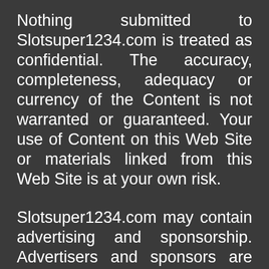Nothing submitted to Slotsuper1234.com is treated as confidential. The accuracy, completeness, adequacy or currency of the Content is not warranted or guaranteed. Your use of Content on this Web Site or materials linked from this Web Site is at your own risk.
Slotsuper1234.com may contain advertising and sponsorship. Advertisers and sponsors are responsible for ensuring that material submitted for inclusion on